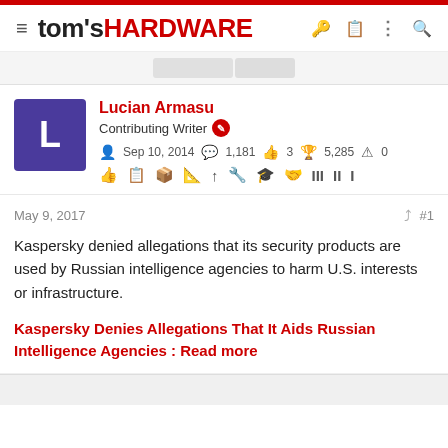tom's HARDWARE
Lucian Armasu
Contributing Writer
Sep 10, 2014  1,181  3  5,285  0
May 9, 2017  #1
Kaspersky denied allegations that its security products are used by Russian intelligence agencies to harm U.S. interests or infrastructure.
Kaspersky Denies Allegations That It Aids Russian Intelligence Agencies : Read more